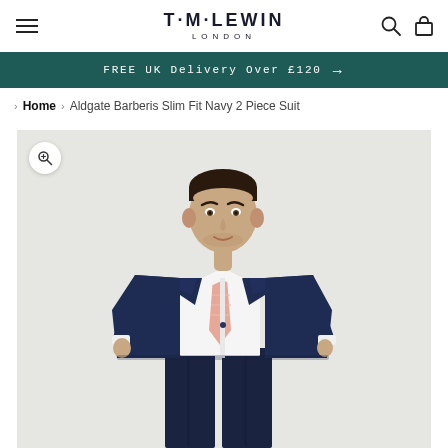T·M·LEWIN LONDON
FREE UK Delivery Over £120 →
Home > Aldgate Barberis Slim Fit Navy 2 Piece Suit
[Figure (photo): A male model wearing a slim fit navy 2-piece suit with a white shirt and light pink/salmon tie, standing against a light grey background. A zoom/magnify icon is visible in the top-left corner of the image.]